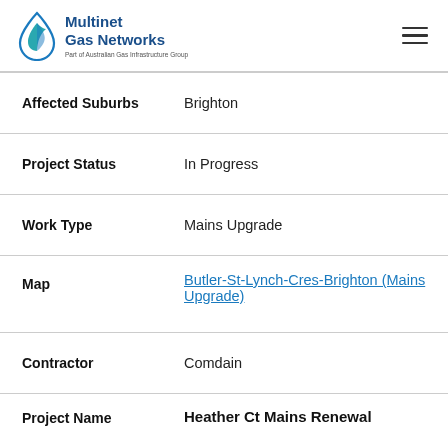[Figure (logo): Multinet Gas Networks logo — drop/leaf icon in blue and teal, with text 'Multinet Gas Networks' and 'Part of Australian Gas Infrastructure Group']
| Field | Value |
| --- | --- |
| Affected Suburbs | Brighton |
| Project Status | In Progress |
| Work Type | Mains Upgrade |
| Map | Butler-St-Lynch-Cres-Brighton (Mains Upgrade) |
| Contractor | Comdain |
| Project Name | Heather Ct Mains Renewal |